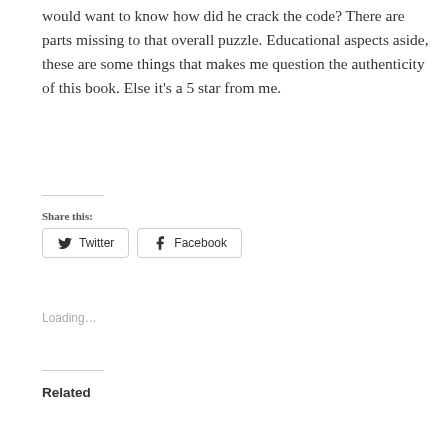would want to know how did he crack the code? There are parts missing to that overall puzzle. Educational aspects aside, these are some things that makes me question the authenticity of this book. Else it's a 5 star from me.
Share this:
Twitter  Facebook
Loading...
Related